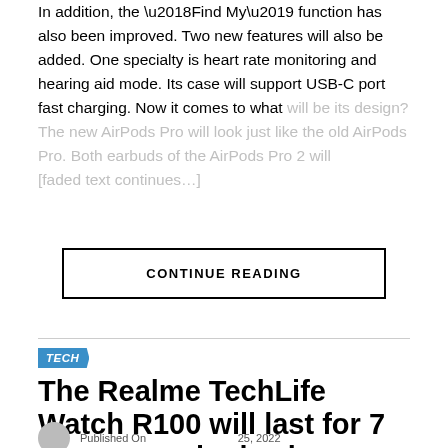In addition, the ‘Find My’ function has also been improved. Two new features will also be added. One specialty is heart rate monitoring and hearing aid mode. Its case will support USB-C port fast charging. Now it comes to what will be its design? The new AirPods Pro will look just like the old AirPods Pro. Both earbuds of the AirPods Pro 2 will [faded text continues]
CONTINUE READING
TECH
The Realme TechLife Watch R100 will last for 7 days on a single charge
Published On...